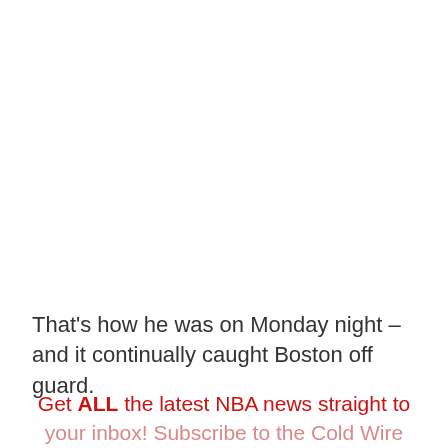That’s how he was on Monday night – and it continually caught Boston off guard.
Get ALL the latest NBA news straight to your inbox! Subscribe to the Cold Wire NBA newsletter here!